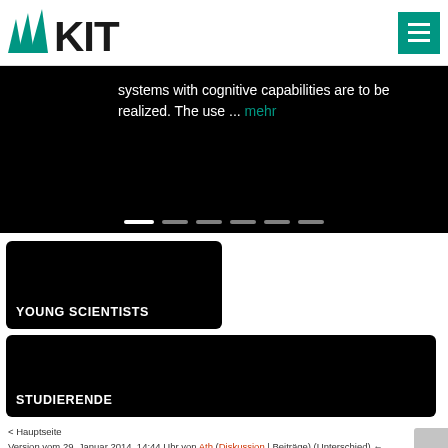KIT logo and menu button
systems with cognitive capabilities are to be realized. The use ... mehr
[Figure (other): Slideshow navigation dots]
YOUNG SCIENTISTS
STUDIERENDE
< Hauptseite
Version vom 29. Januar 2014, 14:44 Uhr von Ath (Diskussion | Beiträge) (Unterschied) ← Nächstältere Version | Aktuelle Version (Unterschied) | Nächstjüngere Version → (Unterschied)
Welcome at the Institute AIT...